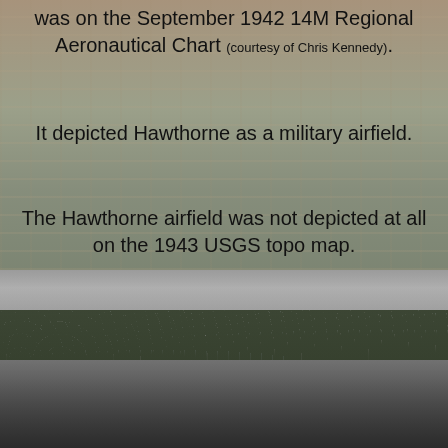was on the September 1942 14M Regional Aeronautical Chart (courtesy of Chris Kennedy).
It depicted Hawthorne as a military airfield.
The Hawthorne airfield was not depicted at all on the 1943 USGS topo map.
[Figure (photo): Black and white photograph showing vintage biplane aircraft on the ground at an airfield, with a treeline visible in the background.]